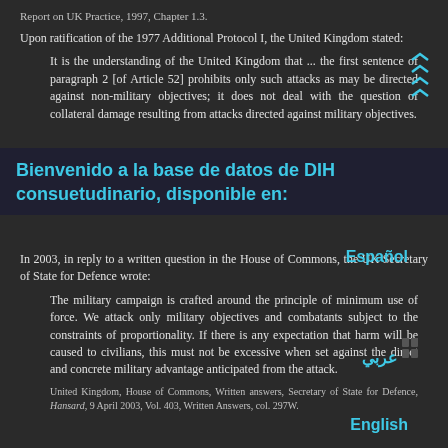Report on UK Practice, 1997, Chapter 1.3.
Upon ratification of the 1977 Additional Protocol I, the United Kingdom stated:
It is the understanding of the United Kingdom that ... the first sentence of paragraph 2 [of Article 52] prohibits only such attacks as may be directed against non-military objectives; it does not deal with the question of collateral damage resulting from attacks directed against military objectives.
Bienvenido a la base de datos de DIH consuetudinario, disponible en:
Español
In 2003, in reply to a written question in the House of Commons, the UK Secretary of State for Defence wrote:
The military campaign is crafted around the principle of minimum use of force. We attack only military objectives and combatants subject to the constraints of proportionality. If there is any expectation that harm will be caused to civilians, this must not be excessive when set against the direct and concrete military advantage anticipated from the attack.
United Kingdom, House of Commons, Written answers, Secretary of State for Defence, Hansard, 9 April 2003, Vol. 403, Written Answers, col. 297W.
عربي
English